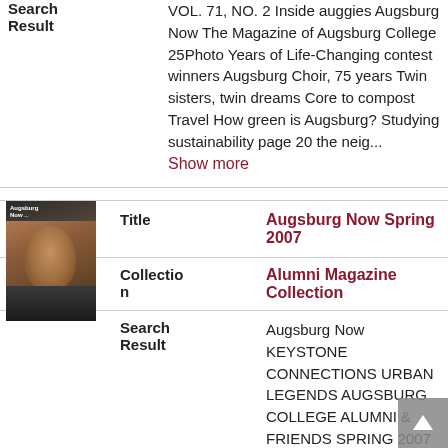Search Result
VOL. 71, NO. 2 Inside auggies Augsburg Now The Magazine of Augsburg College 25Photo Years of Life-Changing contest winners Augsburg Choir, 75 years Twin sisters, twin dreams Core to compost Travel How green is Augsburg? Studying sustainability page 20 the neig...
Show more
[Figure (photo): Thumbnail cover of Augsburg Now Spring 2007 magazine showing a man's face]
Title
Augsburg Now Spring 2007
Collection
Alumni Magazine Collection
Search Result
Augsburg Now KEYSTONE CONNECTIONS URBAN LEGENDS AUGSBURG COLLEGE ALUMNI & FRIENDS SPRING 2007 VOL. 69, NO. 3 Martin Sabo retires The ending of an era page 16 P. 21 A PLACE OF THEIR OWN A P U B L I C